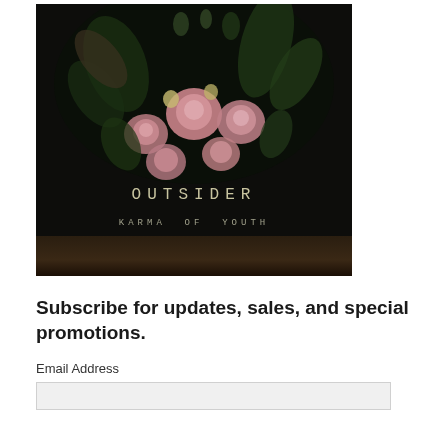[Figure (photo): Album cover for 'Outsider' by Karma of Youth. Dark background with pink roses and green floral arrangement. Text reads 'OUTSIDER' and 'KARMA OF YOUTH' in spaced monospace lettering over a dark wooden surface.]
Subscribe for updates, sales, and special promotions.
Email Address